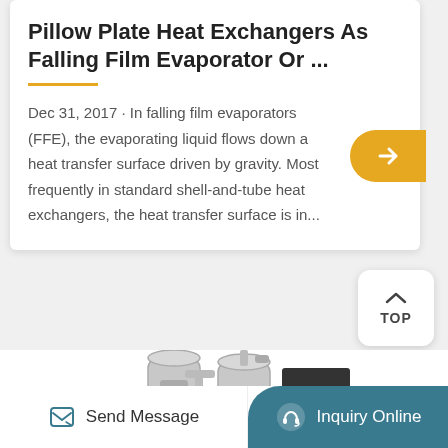Pillow Plate Heat Exchangers As Falling Film Evaporator Or ...
Dec 31, 2017 · In falling film evaporators (FFE), the evaporating liquid flows down a heat transfer surface driven by gravity. Most frequently in standard shell-and-tube heat exchangers, the heat transfer surface is in...
[Figure (photo): Industrial heat exchanger / evaporator equipment including cylindrical vessels, pipes, control panel, and cooling unit]
Send Message
Inquiry Online